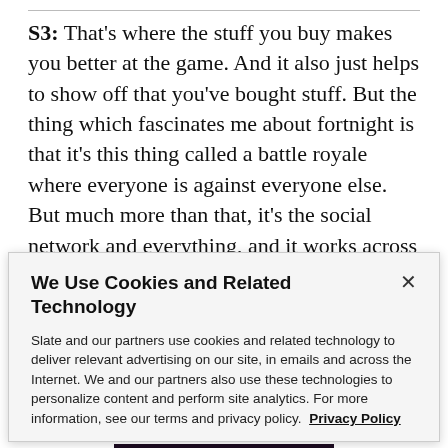S3: That's where the stuff you buy makes you better at the game. And it also just helps to show off that you've bought stuff. But the thing which fascinates me about fortnight is that it's this thing called a battle royale where everyone is against everyone else. But much more than that, it's the social network and everything, and it works across platforms. It's a little bit like the
We Use Cookies and Related Technology
Slate and our partners use cookies and related technology to deliver relevant advertising on our site, in emails and across the Internet. We and our partners also use these technologies to personalize content and perform site analytics. For more information, see our terms and privacy policy. Privacy Policy
OK